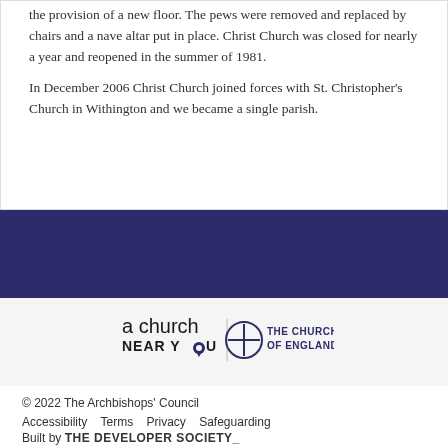the provision of a new floor. The pews were removed and replaced by chairs and a nave altar put in place. Christ Church was closed for nearly a year and reopened in the summer of 1981.
In December 2006 Christ Church joined forces with St. Christopher's Church in Withington and we became a single parish.
[Figure (logo): A Church Near You | The Church of England logo]
© 2022 The Archbishops' Council
Accessibility  Terms  Privacy  Safeguarding
Built by THE DEVELOPER SOCIETY_